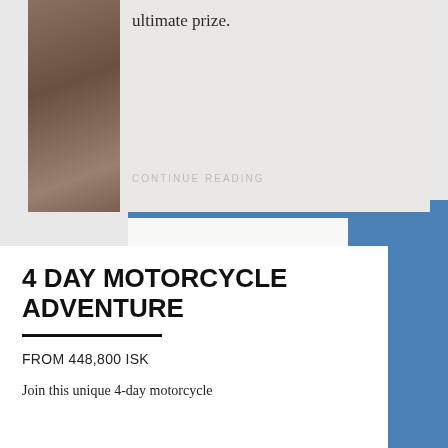ultimate prize.
CONTINUE READING
4 DAY MOTORCYCLE ADVENTURE
FROM 448,800 ISK
Join this unique 4-day motorcycle